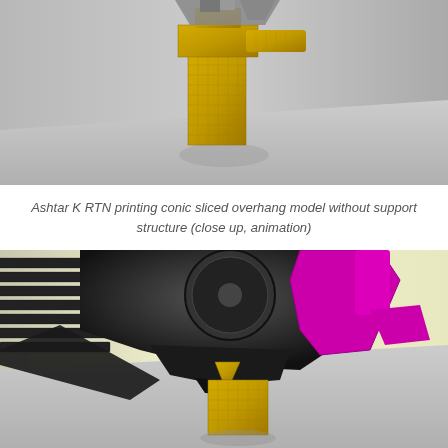[Figure (illustration): 3D rendering of a 3D printer (Ashtar K RTN) printing a conic sliced overhang model without support structure, shown as a close-up animation frame. The printed object is gold/yellow colored, with gray background.]
Ashtar K RTN printing conic sliced overhang model without support structure (close up, animation)
[Figure (illustration): 3D rendering close-up of the print head of the Ashtar K RTN printer, showing black and magenta/pink components of the extruder assembly, with a gold/yellow printed object on the build plate below. Light yellow background.]